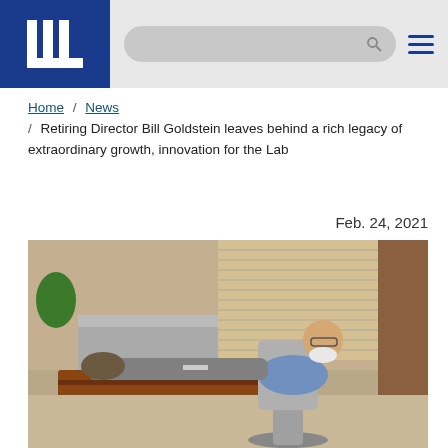LLNL website header with logo and navigation
Home / News / Retiring Director Bill Goldstein leaves behind a rich legacy of extraordinary growth, innovation for the Lab
Feb. 24, 2021
[Figure (photo): Man sitting in office chair with feet up on desk, smiling at camera. Office setting with wooden furniture, windows with blinds, and plants in background.]